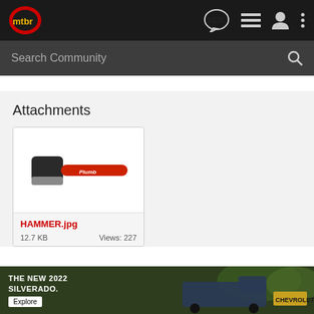mtbr — navigation bar with NEW, list, user, and menu icons
Search Community
Attachments
[Figure (photo): A hammer with a black head and red handle labeled 'Plumb']
HAMMER.jpg
12.7 KB   Views: 227
[Figure (photo): Advertisement banner: THE NEW 2022 SILVERADO. Explore. Chevrolet logo with truck image on dark background.]